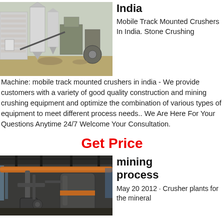[Figure (photo): Industrial stone crushing plant with silos, conveyors, and crushing equipment in an outdoor setting.]
India
Mobile Track Mounted Crushers In India. Stone Crushing Machine: mobile track mounted crushers in india - We provide customers with a variety of good quality construction and mining crushing equipment and optimize the combination of various types of equipment to meet different process needs.. We Are Here For Your Questions Anytime 24/7 Welcome Your Consultation.
Get Price
[Figure (photo): Interior of a mining processing facility with large industrial machinery, pipes, and processing tanks.]
mining process
May 20 2012 · Crusher plants for the mineral